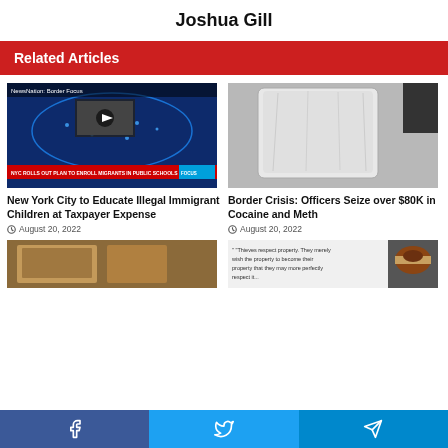Joshua Gill
Related Articles
[Figure (screenshot): Screenshot of NewsNation broadcast showing 'NYC ROLLS OUT PLAN TO ENROLL MIGRANTS IN PUBLIC SCHOOLS' chyron with a map of the US]
New York City to Educate Illegal Immigrant Children at Taxpayer Expense
August 20, 2022
[Figure (photo): Photo of a large clear plastic bag containing white powder (cocaine/meth)]
Border Crisis: Officers Seize over $80K in Cocaine and Meth
August 20, 2022
[Figure (photo): Partial photo of boxes]
[Figure (screenshot): Partial screenshot with text about property rights and a man in a Soviet-style hat]